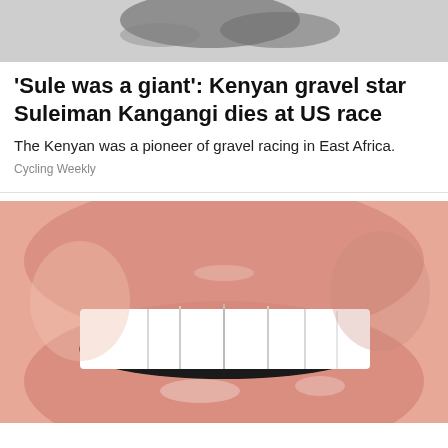[Figure (photo): Partial photo at top of page, showing a dark shadow or spill on a light surface]
'Sule was a giant': Kenyan gravel star Suleiman Kangangi dies at US race
The Kenyan was a pioneer of gravel racing in East Africa.
Cycling Weekly
[Figure (photo): Close-up photo of a smiling mouth showing white teeth and glossy lips]